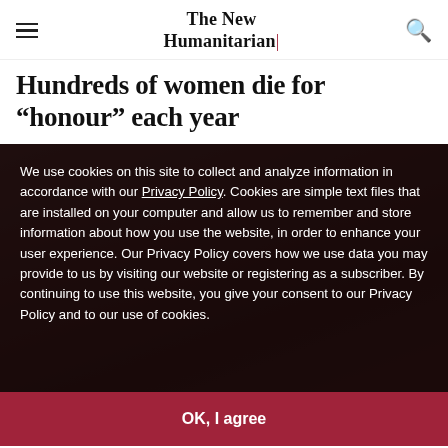The New Humanitarian
Hundreds of women die for “honour” each year
[Figure (photo): Dark background image showing hands, overlaid with a cookie consent dialog box containing policy text and an OK button]
We use cookies on this site to collect and analyze information in accordance with our Privacy Policy. Cookies are simple text files that are installed on your computer and allow us to remember and store information about how you use the website, in order to enhance your user experience. Our Privacy Policy covers how we use data you may provide to us by visiting our website or registering as a subscriber. By continuing to use this website, you give your consent to our Privacy Policy and to our use of cookies.
Many “honour” killings go unreported (Wikimedia Commons)